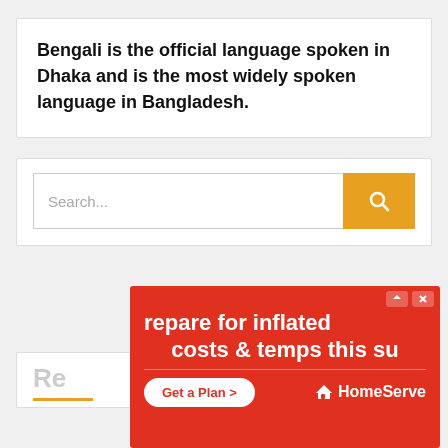Bengali is the official language spoken in Dhaka and is the most widely spoken language in Bangladesh.
[Figure (screenshot): Search bar with text input field reading 'Search...' and an orange search button with magnifying glass icon]
[Figure (infographic): Red advertisement banner reading 'prepare for inflated costs & temps this su' with a 'Get a Plan >' button and HomeServe logo]
Re